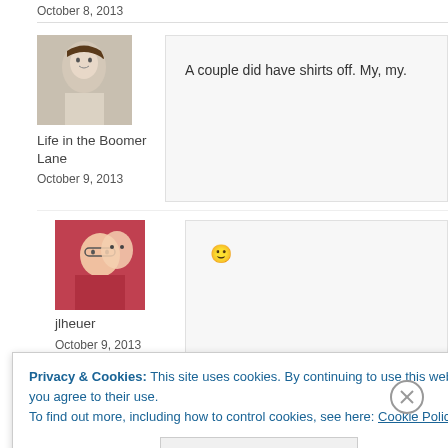October 8, 2013
[Figure (photo): Avatar photo of Life in the Boomer Lane - vintage black and white portrait of a woman]
Life in the Boomer Lane
October 9, 2013
A couple did have shirts off. My, my.
[Figure (photo): Avatar photo of jlheuer - two women posing together, one with glasses]
jlheuer
October 9, 2013
😀
age in which the phrase “I’m w… did several decades ago. ect admiration.
Privacy & Cookies: This site uses cookies. By continuing to use this website, you agree to their use.
To find out more, including how to control cookies, see here: Cookie Policy
Close and accept
THE APP
[Figure (logo): WordPress logo - W in circle on gradient background]